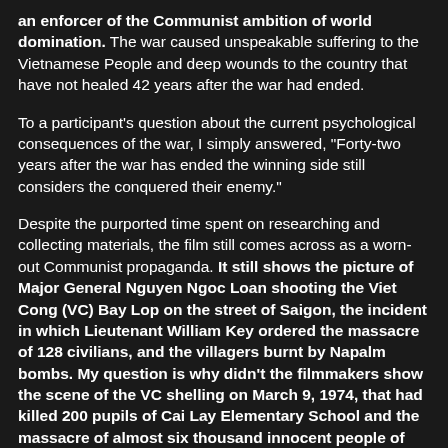an enforcer of the Communist ambition of world domination. The war caused unspeakable suffering to the Vietnamese People and deep wounds to the country that have not healed 42 years after the war had ended.
To a participant's question about the current psychological consequences of the war, I simply answered, "Forty-two years after the war has ended the winning side still considers the conquered their enemy."
Despite the purported time spent on researching and collecting materials, the film still comes across as a worn-out Communist propaganda. It still shows the picture of Major General Nguyen Ngoc Loan shooting the Viet Cong (VC) Bay Lop on the street of Saigon, the incident in which Lieutenant William Key ordered the massacre of 128 civilians, and the villagers burnt by Napalm bombs. My question is why didn't the filmmakers show the scene of the VC shelling on March 9, 1974, that had killed 200 pupils of Cai Lay Elementary School and the massacre of almost six thousand innocent people of Hue during the VC 'Tet' Offensive in 1968? To the film's claim that